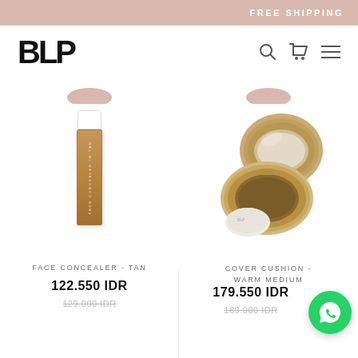FREE SHIPPING
BLP
[Figure (photo): BLP brand logo text in bold black serif capitals]
[Figure (photo): BLP Face Concealer - Tan product, a tan/beige liquid concealer bottle with white cap]
FACE CONCEALER - TAN
122.550 IDR
129.000 IDR
[Figure (photo): BLP Cover Cushion - Warm Medium product, an open compact cushion with gold case and white applicator]
COVER CUSHION - WARM MEDIUM
179.550 IDR
189.000 IDR